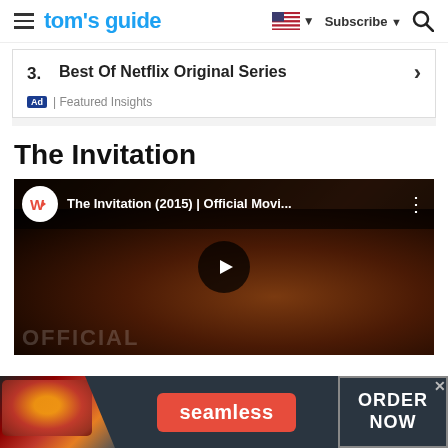tom's guide  |  Subscribe  |  Search
3. Best Of Netflix Original Series
Ad | Featured Insights
The Invitation
[Figure (screenshot): YouTube video embed showing 'The Invitation (2015) | Official Movi...' with a dark cinematic thumbnail of a man with long hair, a play button in the center, and 'OFFICIAL' text partially visible at the bottom.]
[Figure (photo): Seamless food delivery advertisement banner with pizza image on left, red Seamless button in center, and 'ORDER NOW' button on right with a close (x) button in top-right corner.]